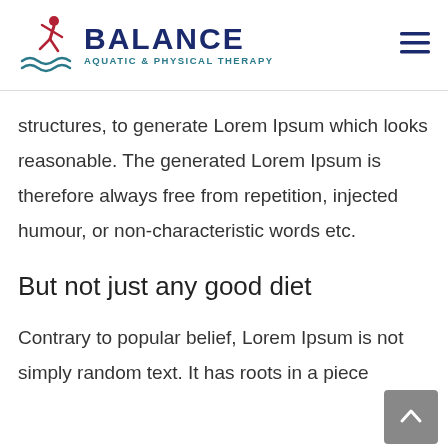[Figure (logo): Balance Aquatic & Physical Therapy logo with running figure and wave graphic]
structures, to generate Lorem Ipsum which looks reasonable. The generated Lorem Ipsum is therefore always free from repetition, injected humour, or non-characteristic words etc.
But not just any good diet
Contrary to popular belief, Lorem Ipsum is not simply random text. It has roots in a piece